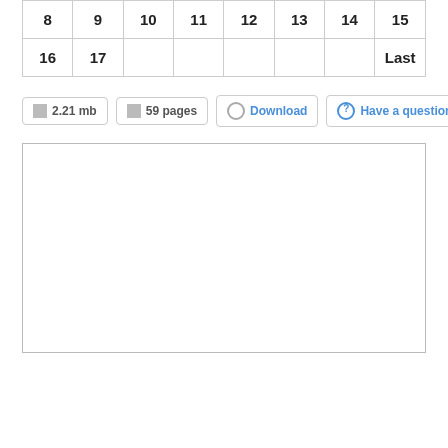| 8 | 9 | 10 | 11 | 12 | 13 | 14 | 15 |
| 16 | 17 |  |  |  |  |  | Last |
2.21 mb   59 pages   Download   Have a question?
[Figure (other): Empty white document preview box with a thin border]